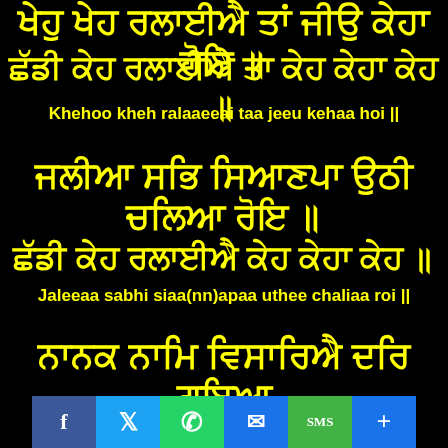ਖੇਹੁ ਖੇਹ ਰਲਾਈਐ ਤਾਂ ਜੀਉ ਕੇਹਾ ਹੋਇ ॥
ਛੱਡੀ ਕੇਹ ਰਲਾਈਐ ਤਾ ਕੇਹ ਕੇਹਾ ਕੇਹ ॥
Khehoo kheh ralaaeeai taa jeeu kehaa hoi ||
ਜਲੀਆ ਸਭਿ ਸਿਆਣਪਾ ਉਠੀ ਚਲਿਆ ਰੋਇ ॥
ਛੱਡੀ ਕੇਹ ਰਲਾਈਐ ਕੇਹ ਕੇਹਾ ਕੇਹ ॥
Jaleeaa sabhi siaa(nn)apaa uthee chaliaa roi ||
ਨਾਨਕ ਨਾਮਿ ਵਿਸਾਰਿਐ ਦਰਿ ਗਇਆ